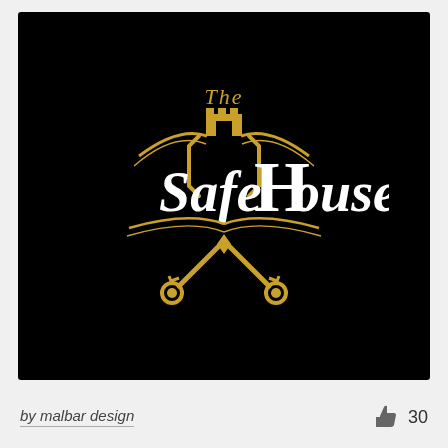[Figure (logo): The Safe House logo on black background. Features old English / blackletter text 'The Safe House' in white and gold, with a castle/tower emblem above the H, decorative wing/scroll elements, and crossed keys or tools below in gold.]
by malbar design
30